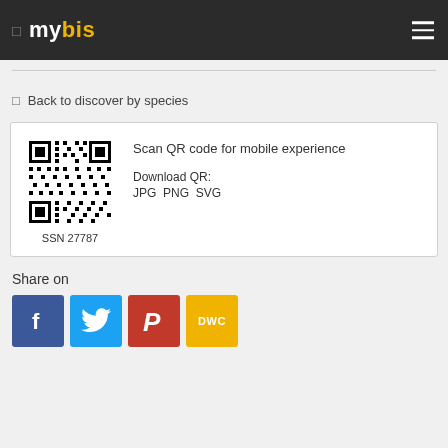mybis
Back to discover by species
[Figure (other): QR code for mobile experience, labeled SSN 27787]
Scan QR code for mobile experience
Download QR:
JPG PNG SVG
SSN 27787
Share on
[Figure (other): Social sharing buttons: Facebook, Twitter, Pinterest, DWC]